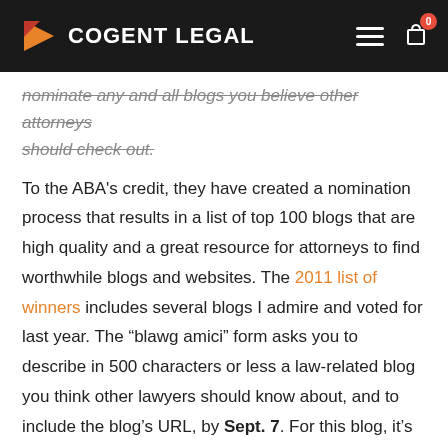COGENT LEGAL
nominate any and all blogs you believe other attorneys should check out.
To the ABA's credit, they have created a nomination process that results in a list of top 100 blogs that are high quality and a great resource for attorneys to find worthwhile blogs and websites. The 2011 list of winners includes several blogs I admire and voted for last year. The “blawg amici” form asks you to describe in 500 characters or less a law-related blog you think other lawyers should know about, and to include the blog’s URL, by Sept. 7. For this blog, it’s https://cogentlegal.com.